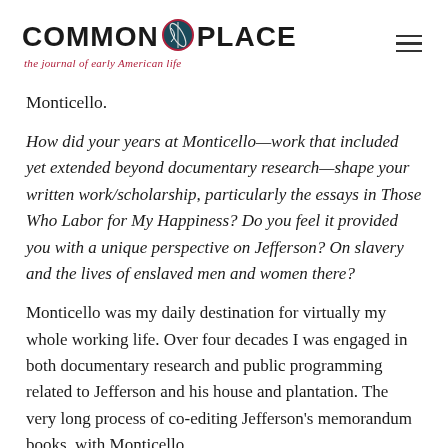COMMON-PLACE the journal of early American life
Monticello.
How did your years at Monticello—work that included yet extended beyond documentary research—shape your written work/scholarship, particularly the essays in Those Who Labor for My Happiness? Do you feel it provided you with a unique perspective on Jefferson? On slavery and the lives of enslaved men and women there?
Monticello was my daily destination for virtually my whole working life. Over four decades I was engaged in both documentary research and public programming related to Jefferson and his house and plantation. The very long process of co-editing Jefferson's memorandum books, with Monticello